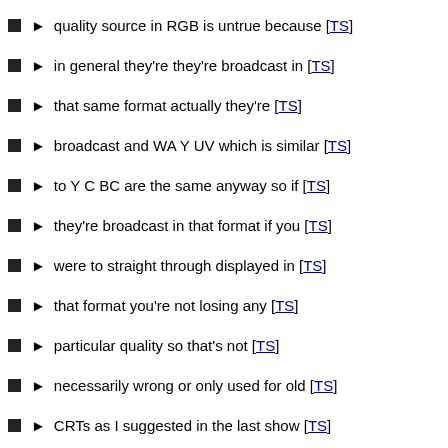► quality source in RGB is untrue because [TS]
► in general they're they're broadcast in [TS]
► that same format actually they're [TS]
► broadcast and WA Y UV which is similar [TS]
► to Y C BC are the same anyway so if [TS]
► they're broadcast in that format if you [TS]
► were to straight through displayed in [TS]
► that format you're not losing any [TS]
► particular quality so that's not [TS]
► necessarily wrong or only used for old [TS]
► CRTs as I suggested in the last show [TS]